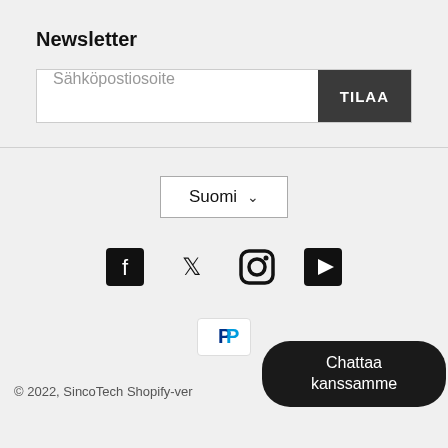Newsletter
Sähköpostiosoite
TILAA
Suomi
[Figure (infographic): Social media icons: Facebook, Twitter, Instagram, YouTube]
[Figure (infographic): PayPal payment icon]
© 2022, SincoTech Shopify-ver
Chattaa kanssamme